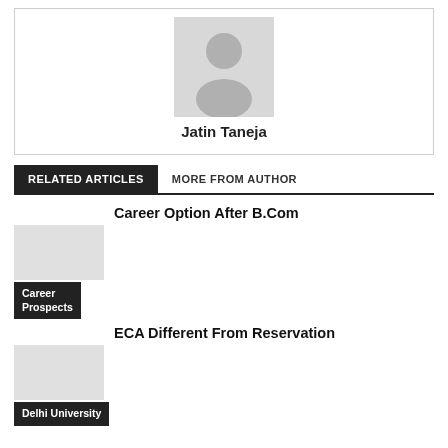[Figure (photo): Author avatar placeholder silhouette icon in grey box]
Jatin Taneja
RELATED ARTICLES
MORE FROM AUTHOR
Career Option After B.Com
Career Prospects
ECA Different From Reservation
Delhi University